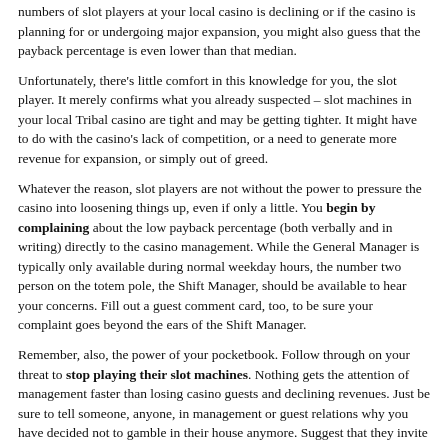numbers of slot players at your local casino is declining or if the casino is planning for or undergoing major expansion, you might also guess that the payback percentage is even lower than that median.
Unfortunately, there's little comfort in this knowledge for you, the slot player. It merely confirms what you already suspected – slot machines in your local Tribal casino are tight and may be getting tighter. It might have to do with the casino's lack of competition, or a need to generate more revenue for expansion, or simply out of greed.
Whatever the reason, slot players are not without the power to pressure the casino into loosening things up, even if only a little. You begin by complaining about the low payback percentage (both verbally and in writing) directly to the casino management. While the General Manager is typically only available during normal weekday hours, the number two person on the totem pole, the Shift Manager, should be available to hear your concerns. Fill out a guest comment card, too, to be sure your complaint goes beyond the ears of the Shift Manager.
Remember, also, the power of your pocketbook. Follow through on your threat to stop playing their slot machines. Nothing gets the attention of management faster than losing casino guests and declining revenues. Just be sure to tell someone, anyone, in management or guest relations why you have decided not to gamble in their house anymore. Suggest that they invite you back to play if/when they can offer you a more enjoyable gaming experience.